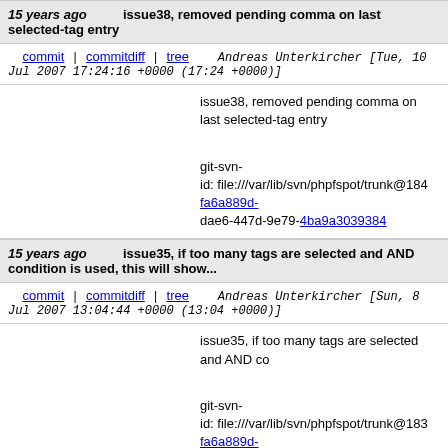15 years ago   issue38, removed pending comma on last selected-tag entry
commit | commitdiff | tree   Andreas Unterkircher [Tue, 10 Jul 2007 17:24:16 +0000 (17:24 +0000)]
issue38, removed pending comma on last selected-tag entry

git-svn-id: file:///var/lib/svn/phpfspot/trunk@184 fa6a889d-dae6-447d-9e79-4ba9a3039384
15 years ago   issue35, if too many tags are selected and AND condition is used, this will show...
commit | commitdiff | tree   Andreas Unterkircher [Sun, 8 Jul 2007 13:04:44 +0000 (13:04 +0000)]
issue35, if too many tags are selected and AND co

git-svn-id: file:///var/lib/svn/phpfspot/trunk@183 fa6a889d-dae6-447d-9e79-4ba9a3039384
15 years ago   issue34, fixed wickeld tag column when too many tags are selected
commit | commitdiff | tree   Andreas Unterkircher [Sun, 8 Jul 2007